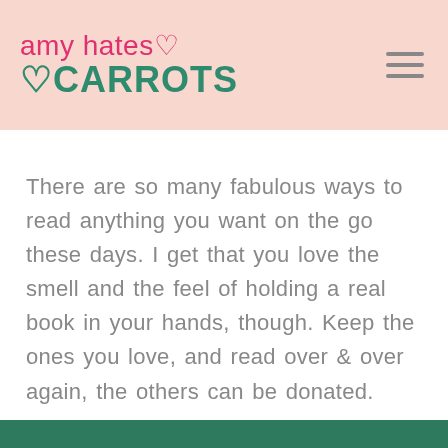amy hates CARROTS
There are so many fabulous ways to read anything you want on the go these days. I get that you love the smell and the feel of holding a real book in your hands, though. Keep the ones you love, and read over & over again, the others can be donated.